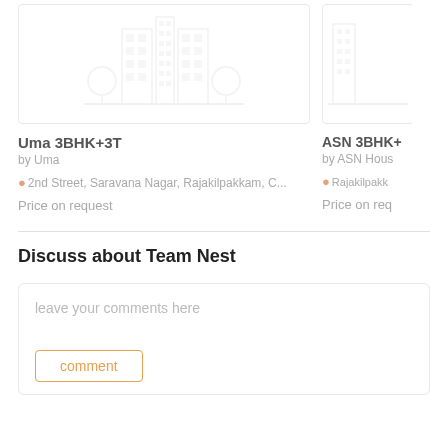[Figure (illustration): Placeholder building illustration for Uma 3BHK+3T property listing card]
Uma 3BHK+3T
by Uma
2nd Street, Saravana Nagar, Rajakilpakkam, C...
Price on request
[Figure (illustration): Placeholder building illustration for ASN 3BHK+ property listing card (partially visible)]
ASN 3BHK+
by ASN Hous
Rajakilpakk
Price on req
Discuss about Team Nest
leave your comments here